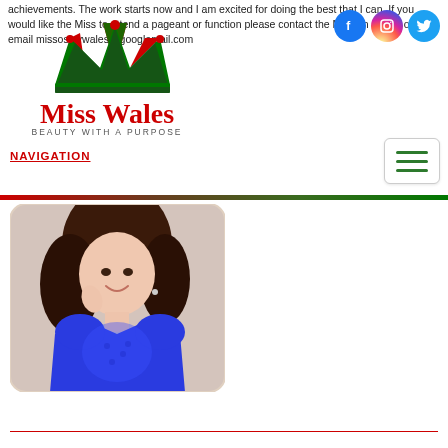achievements. The work starts now and I am excited for doing the best that I can. If you would like the Miss to attend a pageant or function please contact the Miss on 07929 or email missosleywales@googlemail.com
[Figure (logo): Miss Wales logo with crown and text 'Miss Wales - Beauty With A Purpose']
[Figure (other): Social media icons: Facebook, Instagram, Twitter]
NAVIGATION
[Figure (other): Hamburger menu button with three green lines]
[Figure (photo): Photo of a young woman with dark curly hair wearing a blue dress, smiling, with rounded corners]